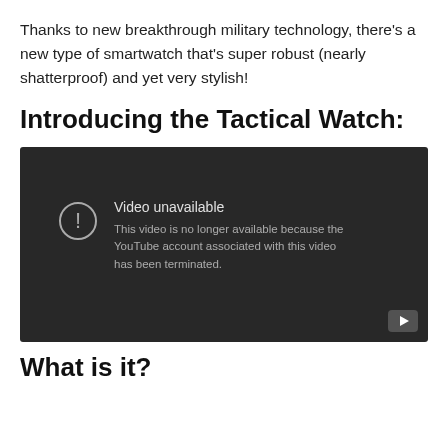Thanks to new breakthrough military technology, there’s a new type of smartwatch that’s super robust (nearly shatterproof) and yet very stylish!
Introducing the Tactical Watch:
[Figure (screenshot): Embedded YouTube video player showing 'Video unavailable' error message. Text reads: 'This video is no longer available because the YouTube account associated with this video has been terminated.']
What is it?